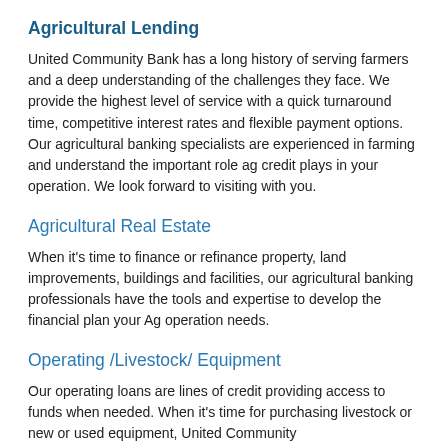Agricultural Lending
United Community Bank has a long history of serving farmers and a deep understanding of the challenges they face. We provide the highest level of service with a quick turnaround time, competitive interest rates and flexible payment options. Our agricultural banking specialists are experienced in farming and understand the important role ag credit plays in your operation. We look forward to visiting with you.
Agricultural Real Estate
When it's time to finance or refinance property, land improvements, buildings and facilities, our agricultural banking professionals have the tools and expertise to develop the financial plan your Ag operation needs.
Operating /Livestock/ Equipment
Our operating loans are lines of credit providing access to funds when needed. When it's time for purchasing livestock or new or used equipment, United Community